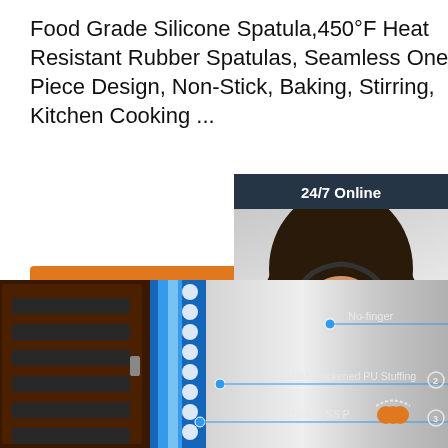Food Grade Silicone Spatula,450°F Heat Resistant Rubber Spatulas, Seamless One-Piece Design, Non-Stick, Baking, Stirring, Kitchen Cooking ...
Get Price
[Figure (photo): Customer service agent photo with 24/7 Online badge, chat panel with 'Click here for free chat!' text and QUOTATION button]
[Figure (engineering-diagram): Cross-section diagram of refrigeration/dehumidification unit showing cabinet with shelves, blue LED strip, steel panel with annotations: No-finger, 35MM Thickened PU Stuffing (2), Thicken SS P (3)]